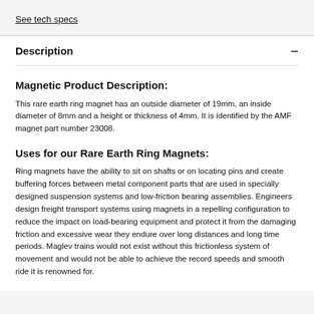See tech specs
Description
Magnetic Product Description:
This rare earth ring magnet has an outside diameter of 19mm, an inside diameter of 8mm and a height or thickness of 4mm. It is identified by the AMF magnet part number 23008.
Uses for our Rare Earth Ring Magnets:
Ring magnets have the ability to sit on shafts or on locating pins and create buffering forces between metal component parts that are used in specially designed suspension systems and low-friction bearing assemblies. Engineers design freight transport systems using magnets in a repelling configuration to reduce the impact on load-bearing equipment and protect it from the damaging friction and excessive wear they endure over long distances and long time periods. Maglev trains would not exist without this frictionless system of movement and would not be able to achieve the record speeds and smooth ride it is renowned for.